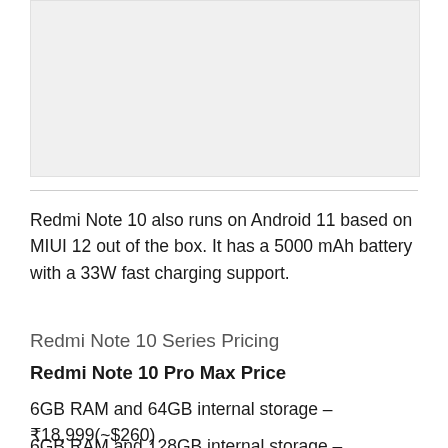[Figure (photo): Image placeholder area (photo of device or related content, shown as gray box)]
Redmi Note 10 also runs on Android 11 based on MIUI 12 out of the box. It has a 5000 mAh battery with a 33W fast charging support.
Redmi Note 10 Series Pricing
Redmi Note 10 Pro Max Price
6GB RAM and 64GB internal storage – ₹18,999(~$260)
6GB RAM and 128GB internal storage –